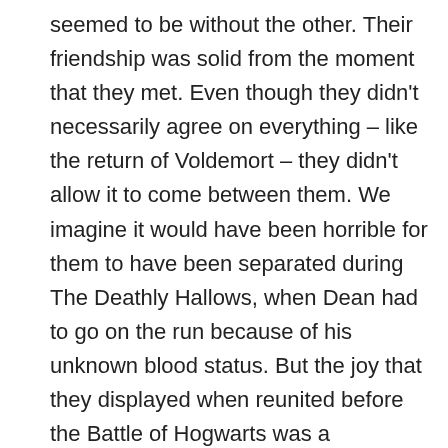seemed to be without the other. Their friendship was solid from the moment that they met. Even though they didn't necessarily agree on everything – like the return of Voldemort – they didn't allow it to come between them. We imagine it would have been horrible for them to have been separated during The Deathly Hallows, when Dean had to go on the run because of his unknown blood status. But the joy that they displayed when reunited before the Battle of Hogwarts was a testament to just how close they were
□□□□□□□□□□□□□□□□□□□□□□□□□□□□□□□□□□□□□□□□□□□□□□□□□□□□□□——□ □□□□□□□□□□□□□□□□□□□□□□□□□□□□□□□□□□□□□□□□□□□□□□□□□□□□□□□□□□□□□□□□□□□□□□
Fred Weasley, George Weasley and Lee Jordan